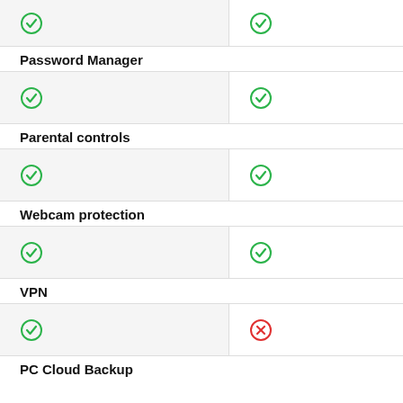| check | check |
| Password Manager |  |
| check | check |
| Parental controls |  |
| check | check |
| Webcam protection |  |
| check | check |
| VPN |  |
| check | x |
| PC Cloud Backup |  |